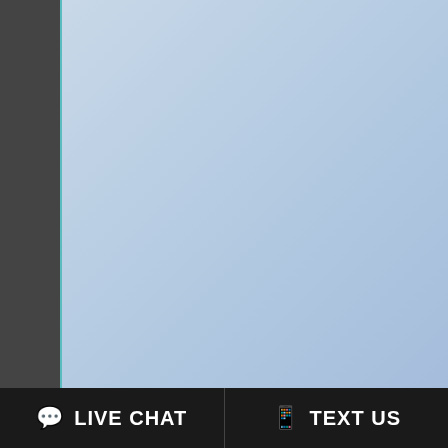Additional Services O... / Addiction Treatment P...
3645 East...
Bridge...
Sub...
Additional Services O... / Addiction Treatment P...
Specialty Progra... / Women / Men / Dui/Dwi Offende...
1221 F...
LIVE CHAT
TEXT US